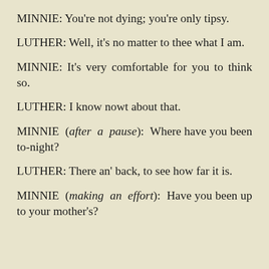MINNIE: You're not dying; you're only tipsy.
LUTHER: Well, it's no matter to thee what I am.
MINNIE: It's very comfortable for you to think so.
LUTHER: I know nowt about that.
MINNIE (after a pause): Where have you been to-night?
LUTHER: There an' back, to see how far it is.
MINNIE (making an effort): Have you been up to your mother's?